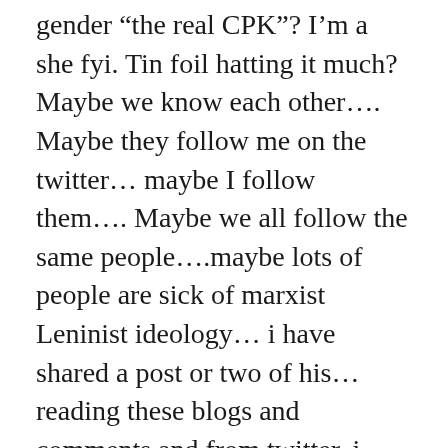gender “the real CPK”? I’m a she fyi. Tin foil hatting it much? Maybe we know each other…. Maybe they follow me on the twitter… maybe I follow them…. Maybe we all follow the same people….maybe lots of people are sick of marxist Leninist ideology… i have shared a post or two of his…reading these blogs and comments and from twitter. i want to meet cpk or real cpk whom ever this person is, If that individual can get so much coverage so to speak… even on twitter cpk was mentioned to me?
No I could tell as my teacher he had an agenda or bias despite being a